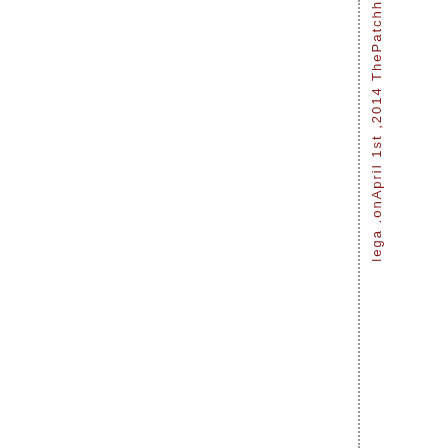lega .onApril 1st ,2014 ThePatchh